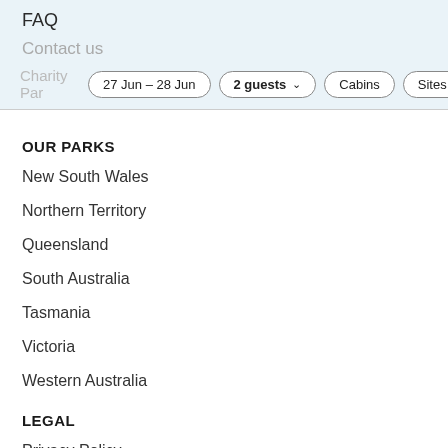FAQ
Contact us
Charity Par...
27 Jun – 28 Jun | 2 guests | Cabins | Sites
OUR PARKS
New South Wales
Northern Territory
Queensland
South Australia
Tasmania
Victoria
Western Australia
LEGAL
Privacy Policy
Our Terms